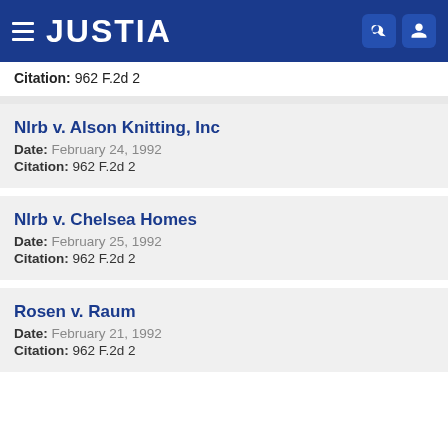JUSTIA
Citation: 962 F.2d 2
Nlrb v. Alson Knitting, Inc
Date: February 24, 1992
Citation: 962 F.2d 2
Nlrb v. Chelsea Homes
Date: February 25, 1992
Citation: 962 F.2d 2
Rosen v. Raum
Date: February 21, 1992
Citation: 962 F.2d 2